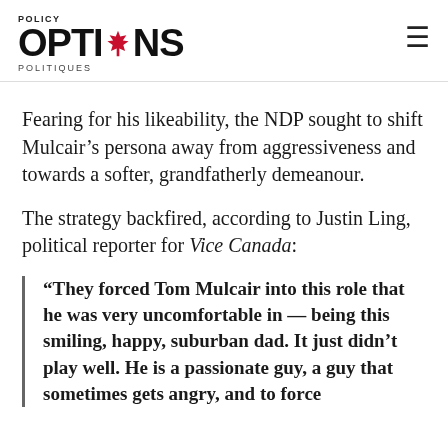POLICY OPTIONS POLITIQUES
Fearing for his likeability, the NDP sought to shift Mulcair’s persona away from aggressiveness and towards a softer, grandfatherly demeanour.
The strategy backfired, according to Justin Ling, political reporter for Vice Canada:
“They forced Tom Mulcair into this role that he was very uncomfortable in — being this smiling, happy, suburban dad. It just didn’t play well. He is a passionate guy, a guy that sometimes gets angry, and to force